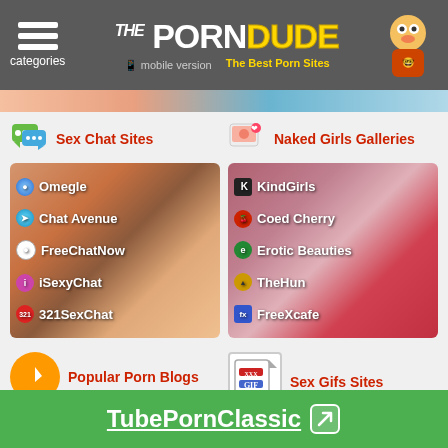The Porn Dude - The Best Porn Sites - categories - mobile version
Sex Chat Sites
[Figure (photo): Photo of woman in black lingerie with overlaid site links: Omegle, Chat Avenue, FreeChatNow, iSexyChat, 321SexChat]
Naked Girls Galleries
[Figure (photo): Photo of woman in red outfit with overlaid site links: KindGirls, Coed Cherry, Erotic Beauties, TheHun, FreeXcafe]
Popular Porn Blogs
ThePornDude Blog
Sex Gifs Sites
Sex.com Gifs
TubePornClassic